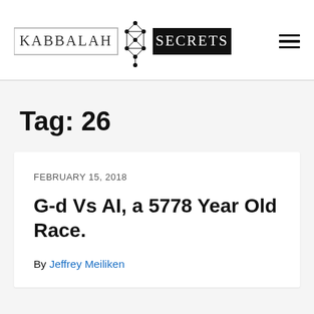KABBALAH SECRETS
Tag: 26
FEBRUARY 15, 2018
G-d Vs AI, a 5778 Year Old Race.
By Jeffrey Meiliken